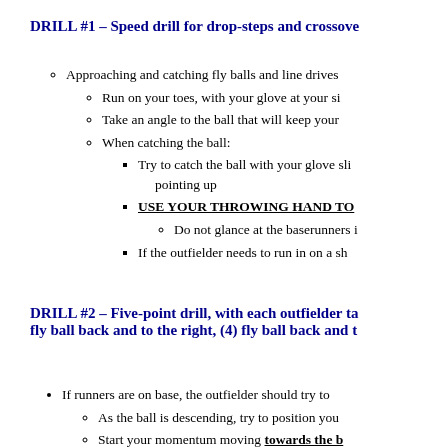DRILL #1 – Speed drill for drop-steps and crossover steps (cont.)
Approaching and catching fly balls and line drives:
Run on your toes, with your glove at your side
Take an angle to the ball that will keep your momentum going
When catching the ball:
Try to catch the ball with your glove slightly above your head, fingers pointing up
USE YOUR THROWING HAND TO COVER THE BALL
Do not glance at the baserunners in the middle of catching the ball
If the outfielder needs to run in on a short fly ball:
DRILL #2 – Five-point drill, with each outfielder taking (1) fly ball in, (2) fly ball left, (3) fly ball back and to the right, (4) fly ball back and to the left, (5) fly ball right
If runners are on base, the outfielder should try to catch the ball on the move
As the ball is descending, try to position yourself behind the ball
Start your momentum moving towards the ball
After catching the ball, use a crow-hop to generate power
The outfielder should position and throw the ball